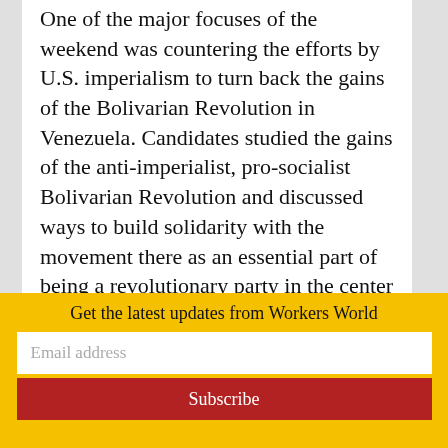One of the major focuses of the weekend was countering the efforts by U.S. imperialism to turn back the gains of the Bolivarian Revolution in Venezuela. Candidates studied the gains of the anti-imperialist, pro-socialist Bolivarian Revolution and discussed ways to build solidarity with the movement there as an essential part of being a revolutionary party in the center of imperialism.
In a class on National Oppression, new members discussed such current terms as
Get the latest updates from Workers World
Email address
Subscribe